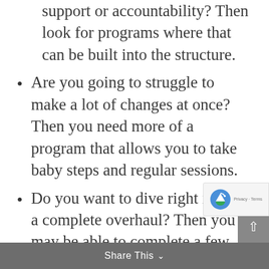Are you going to need regularly scheduled support or accountability? Then look for programs where that can be built into the structure.
Are you going to struggle to make a lot of changes at once? Then you need more of a program that allows you to take baby steps and regular sessions.
Do you want to dive right in with a complete overhaul? Then you may be able to complete a few sessions or receive a nutrition protocol and self-manage from there.
If you’re looking for a meal plan, can the nutrition professional provide it?
Are you more interested in number-based facts and recommendations focused on